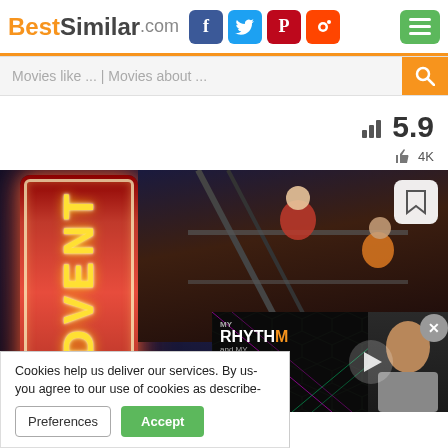[Figure (screenshot): BestSimilar.com website screenshot showing header with logo, social media icons (Facebook, Twitter, Pinterest, Reddit), green menu button, search bar with 'Movies like ... | Movies about ...' placeholder, movie rating of 5.9 with 4K likes, a movie poster image showing an 'ADVENT' neon sign and animated children characters, a video overlay for 'MY RHYTHM and MY BLUES - DEON COLE', a cookie consent banner, and a close button.]
Cookies help us deliver our services. By us- you agree to our use of cookies as describe-
Preferences
Accept